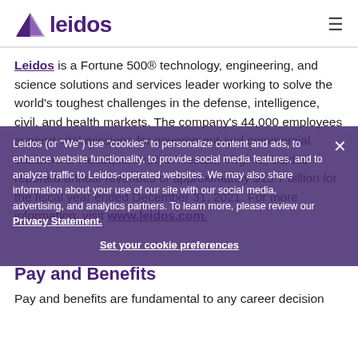leidos
Leidos is a Fortune 500® technology, engineering, and science solutions and services leader working to solve the world's toughest challenges in the defense, intelligence, civil, and health markets. The company's 44,000 employees support vital missions for government and commercial customers. Headquartered in Reston, Virginia, Leidos reported annual revenues of approximately $13.7 billion for the fiscal year ended December 31, 2021. For more information, visit www.leidos.com.
Leidos (or "We") use "cookies" to personalize content and ads, to enhance website functionality, to provide social media features, and to analyze traffic to Leidos-operated websites. We may also share information about your use of our site with our social media, advertising, and analytics partners. To learn more, please review our Privacy Statement.
Set your cookie preferences
Pay and Benefits
Pay and benefits are fundamental to any career decision